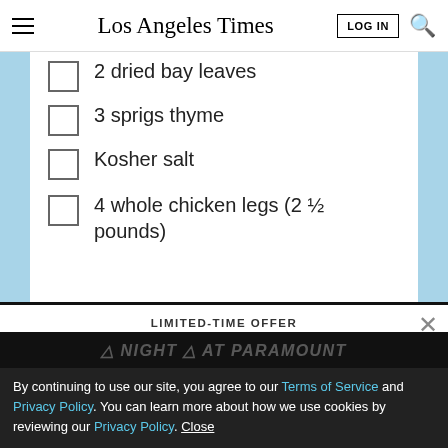Los Angeles Times
2 dried bay leaves
3 sprigs thyme
Kosher salt
4 whole chicken legs (2 ½ pounds)
LIMITED-TIME OFFER
$1 for 6 Months
SUBSCRIBE NOW
By continuing to use our site, you agree to our Terms of Service and Privacy Policy. You can learn more about how we use cookies by reviewing our Privacy Policy. Close